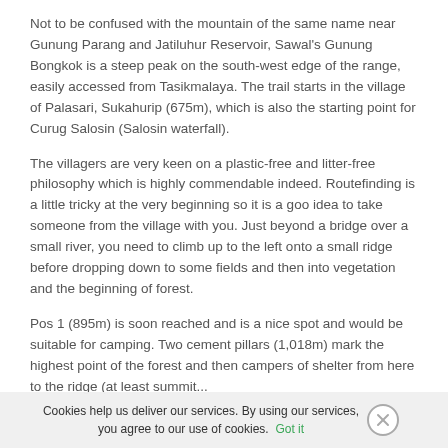Not to be confused with the mountain of the same name near Gunung Parang and Jatiluhur Reservoir, Sawal's Gunung Bongkok is a steep peak on the south-west edge of the range, easily accessed from Tasikmalaya. The trail starts in the village of Palasari, Sukahurip (675m), which is also the starting point for Curug Salosin (Salosin waterfall).
The villagers are very keen on a plastic-free and litter-free philosophy which is highly commendable indeed. Routefinding is a little tricky at the very beginning so it is a goo idea to take someone from the village with you. Just beyond a bridge over a small river, you need to climb up to the left onto a small ridge before dropping down to some fields and then into vegetation and the beginning of forest.
Pos 1 (895m) is soon reached and is a nice spot and would be suitable for camping. Two cement pillars (1,018m) mark the...
Cookies help us deliver our services. By using our services, you agree to our use of cookies. Got it